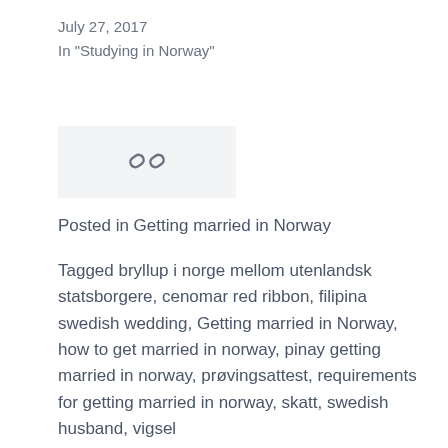July 27, 2017
In "Studying in Norway"
[Figure (other): Share/link icon (chain link symbol) on a light gray background]
Posted in Getting married in Norway
Tagged bryllup i norge mellom utenlandsk statsborgere, cenomar red ribbon, filipina swedish wedding, Getting married in Norway, how to get married in norway, pinay getting married in norway, prøvingsattest, requirements for getting married in norway, skatt, swedish husband, vigsel